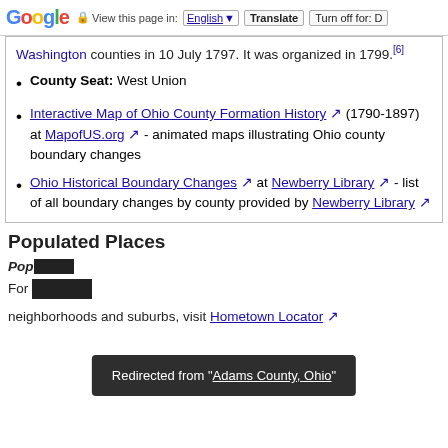Google | View this page in: English | Translate | Turn off for: D
Washington counties in 10 July 1797. It was organized in 1799.[6]
County Seat: West Union
Interactive Map of Ohio County Formation History (1790-1897) at MapofUS.org - animated maps illustrating Ohio county boundary changes
Ohio Historical Boundary Changes at Newberry Library - list of all boundary changes by county provided by Newberry Library
Populated Places
Populated Places
For ... neighborhoods and suburbs, visit Hometown Locator
Redirected from "Adams County, Ohio"